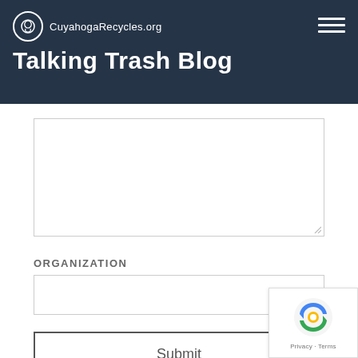CuyahogaRecycles.org - Talking Trash Blog
[Textarea input field - comment/message area]
ORGANIZATION
[Organization input field]
Submit
[Figure (logo): reCAPTCHA badge with Google reCAPTCHA logo and Privacy - Terms text]